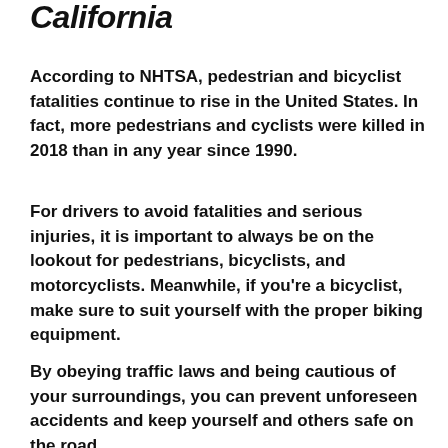California
According to NHTSA, pedestrian and bicyclist fatalities continue to rise in the United States. In fact, more pedestrians and cyclists were killed in 2018 than in any year since 1990.
For drivers to avoid fatalities and serious injuries, it is important to always be on the lookout for pedestrians, bicyclists, and motorcyclists. Meanwhile, if you're a bicyclist, make sure to suit yourself with the proper biking equipment.
By obeying traffic laws and being cautious of your surroundings, you can prevent unforeseen accidents and keep yourself and others safe on the road.